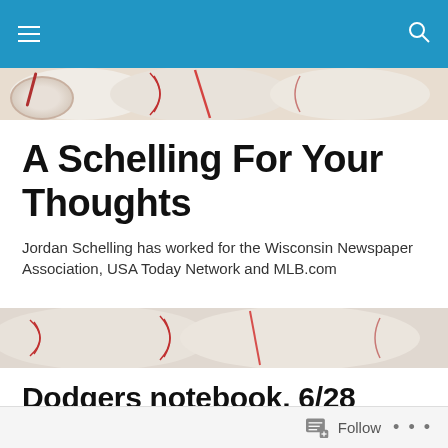Navigation bar with menu and search icons
[Figure (photo): Close-up photo of a baseball with red stitching, partial view at top of page]
A Schelling For Your Thoughts
Jordan Schelling has worked for the Wisconsin Newspaper Association, USA Today Network and MLB.com
[Figure (photo): Close-up photo of a baseball with red stitching and pen, partial view in middle of page]
Dodgers notebook, 6/28
Broxton to be shut down for three weeks
MINNEAPOLIS — After having an MRI on his elbow on Monday, Jonathan Broxton will be shut down for three
Follow ...